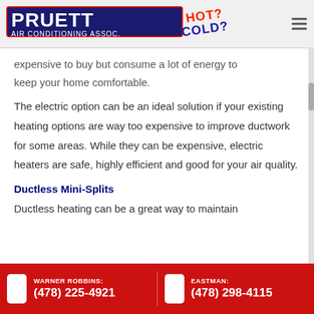PRUETT AIR CONDITIONING ASSOC. HOT? COLD?
expensive to buy but consume a lot of energy to keep your home comfortable.
The electric option can be an ideal solution if your existing heating options are way too expensive to improve ductwork for some areas. While they can be expensive, electric heaters are safe, highly efficient and good for your air quality.
Ductless Mini-Splits
Ductless heating can be a great way to maintain
WARNER ROBBINS: (478) 225-4921  EASTMAN: (478) 298-4115